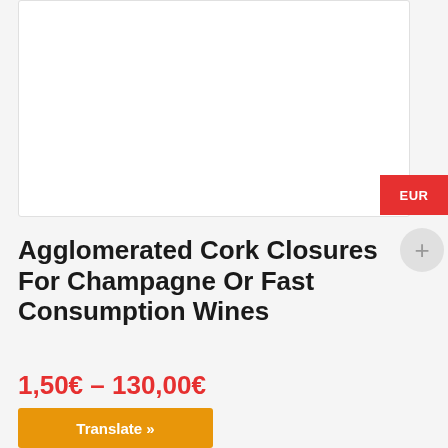[Figure (other): Product image placeholder - white box with border]
EUR
Agglomerated Cork Closures For Champagne Or Fast Consumption Wines
1,50€ – 130,00€
Translate »